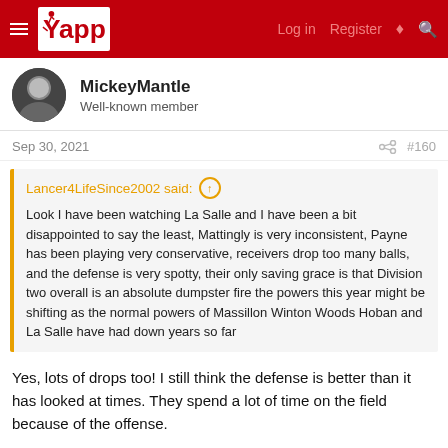Yappi — Log in | Register
MickeyMantle
Well-known member
Sep 30, 2021   #160
Lancer4LifeSince2002 said:
Look I have been watching La Salle and I have been a bit disappointed to say the least, Mattingly is very inconsistent, Payne has been playing very conservative, receivers drop too many balls, and the defense is very spotty, their only saving grace is that Division two overall is an absolute dumpster fire the powers this year might be shifting as the normal powers of Massillon Winton Woods Hoban and La Salle have had down years so far
Yes, lots of drops too! I still think the defense is better than it has looked at times. They spend a lot of time on the field because of the offense.